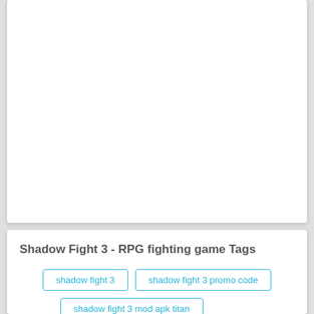[Figure (other): White card area, blank content (image or embedded content not visible)]
Shadow Fight 3 - RPG fighting game Tags
shadow fight 3
shadow fight 3 promo code
shadow fight 3 mod apk titan